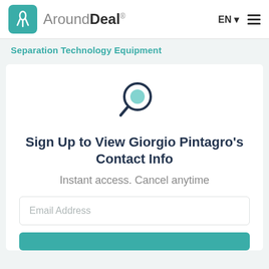[Figure (logo): AroundDeal logo: teal square with white rocket/person icon, followed by brand name 'AroundDeal' with registered mark, and EN language selector and hamburger menu on the right]
Separation Technology Equipment
[Figure (illustration): Magnifying glass icon with teal circle interior and dark navy outline]
Sign Up to View Giorgio Pintagro's Contact Info
Instant access. Cancel anytime
Email Address